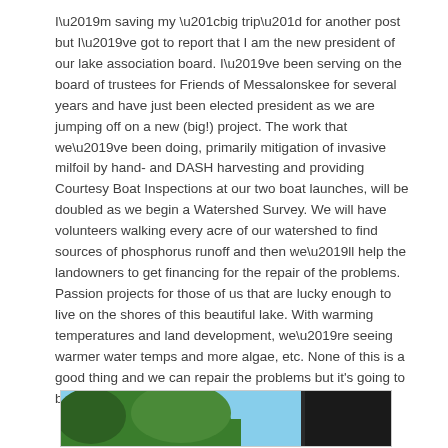I’m saving my “big trip” for another post but I’ve got to report that I am the new president of our lake association board. I’ve been serving on the board of trustees for Friends of Messalonskee for several years and have just been elected president as we are jumping off on a new (big!) project. The work that we’ve been doing, primarily mitigation of invasive milfoil by hand- and DASH harvesting and providing Courtesy Boat Inspections at our two boat launches, will be doubled as we begin a Watershed Survey. We will have volunteers walking every acre of our watershed to find sources of phosphorus runoff and then we’ll help the landowners to get financing for the repair of the problems. Passion projects for those of us that are lucky enough to live on the shores of this beautiful lake. With warming temperatures and land development, we’re seeing warmer water temps and more algae, etc. None of this is a good thing and we can repair the problems but it’s going to be a lot of work!
[Figure (photo): Partial view of an outdoor scene with trees against a blue sky and a dark structure on the right side]